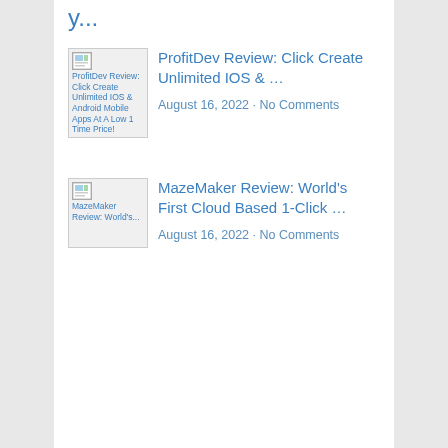ProfitDev Review: Click Create Unlimited IOS & … August 16, 2022 · No Comments
MazeMaker Review: World's First Cloud Based 1-Click … August 16, 2022 · No Comments